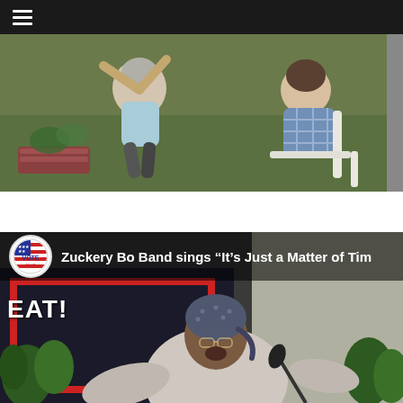[Figure (screenshot): Dark top navigation bar with a hamburger menu icon (three horizontal lines) on the left, white lines on black background.]
[Figure (photo): Outdoor photo showing people sitting, one woman with gray hair appears to be gesturing, another person in a plaid shirt sits across.]
[Figure (screenshot): Video thumbnail for 'Zuckery Bo Band sings It's Just a Matter of Tim...' with a Vote NYC badge/logo on left and a man wearing a bandana performing outdoors near plants, with REAT! sign visible at left. Background dark overlay.]